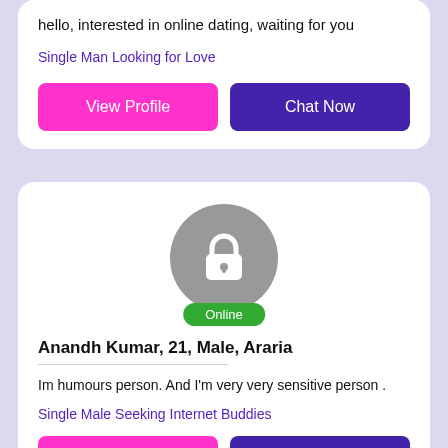hello, interested in online dating, waiting for you
Single Man Looking for Love
View Profile
Chat Now
[Figure (illustration): Circular grey avatar with white lock icon and green Online badge]
Anandh Kumar, 21, Male, Araria
Im humours person. And I'm very very sensitive person .
Single Male Seeking Internet Buddies
View Profile
Chat Now